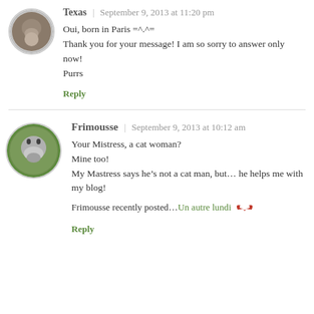[Figure (photo): Circular avatar of a cat, top comment]
Texas | September 9, 2013 at 11:20 pm
Oui, born in Paris =^.^=
Thank you for your message! I am so sorry to answer only now!
Purrs
Reply
[Figure (photo): Circular avatar of a grey tabby cat, bottom comment]
Frimousse | September 9, 2013 at 10:12 am
Your Mistress, a cat woman?
Mine too!
My Mastress says he’s not a cat man, but… he helps me with my blog!
Frimousse recently posted…Un autre lundi
Reply